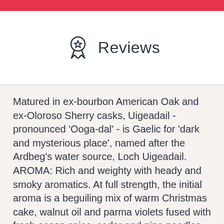Reviews
Matured in ex-bourbon American Oak and ex-Oloroso Sherry casks, Uigeadail - pronounced 'Ooga-dal' - is Gaelic for 'dark and mysterious place', named after the Ardbeg's water source, Loch Uigeadail. AROMA: Rich and weighty with heady and smoky aromatics. At full strength, the initial aroma is a beguiling mix of warm Christmas cake, walnut oil and parma violets fused with fresh ocean spice, cedar and pine needles falling from the Christmas tree. A smouldering coal fire and the scent of well-oiled leather...